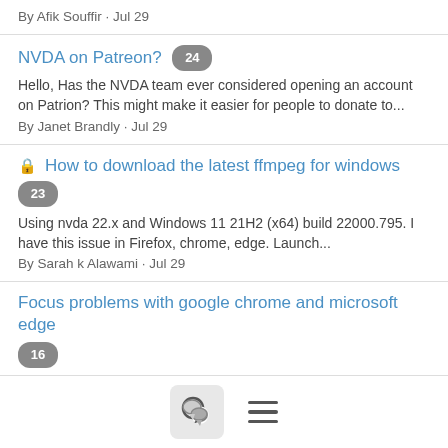By Afik Souffir · Jul 29
NVDA on Patreon? 24
Hello, Has the NVDA team ever considered opening an account on Patrion? This might make it easier for people to donate to...
By Janet Brandly · Jul 29
🔒 How to download the latest ffmpeg for windows 23
Using nvda 22.x and Windows 11 21H2 (x64) build 22000.795. I have this issue in Firefox, chrome, edge. Launch...
By Sarah k Alawami · Jul 29
Focus problems with google chrome and microsoft edge 16
Hi, Do any of you have a problem with focus in google chrome or microsoft edge? Thanks, Afik Get Outlook for iOS
By Afik Souffir · Jul 29